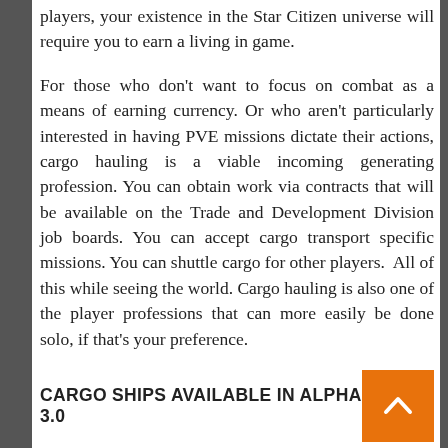players, your existence in the Star Citizen universe will require you to earn a living in game.
For those who don't want to focus on combat as a means of earning currency. Or who aren't particularly interested in having PVE missions dictate their actions, cargo hauling is a viable incoming generating profession. You can obtain work via contracts that will be available on the Trade and Development Division job boards. You can accept cargo transport specific missions. You can shuttle cargo for other players.  All of this while seeing the world. Cargo hauling is also one of the player professions that can more easily be done solo, if that's your preference.
CARGO SHIPS AVAILABLE IN ALPHA 3.0
Alpha 3.0 is going to give us our first taste of cargo hauling. I suspect we'll see cargo missions from NPCs i